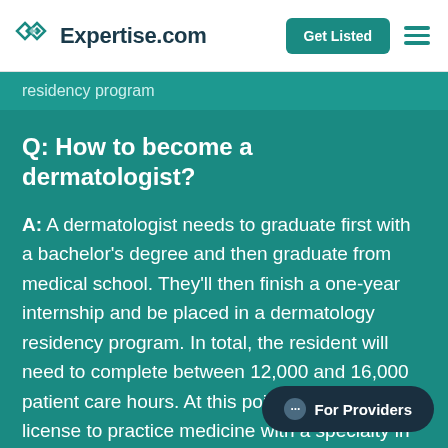Expertise.com
residency program
Q: How to become a dermatologist?
A: A dermatologist needs to graduate first with a bachelor's degree and then graduate from medical school. They'll then finish a one-year internship and be placed in a dermatology residency program. In total, the resident will need to complete between 12,000 and 16,000 patient care hours. At this point, they can get a license to practice medicine with a specialty in dermatology. If the doctor wants to become board-certified, they can take an additio… American Board of Dermatology, the American